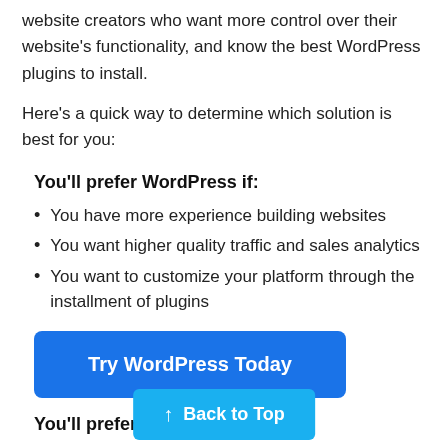website creators who want more control over their website's functionality, and know the best WordPress plugins to install.
Here's a quick way to determine which solution is best for you:
You'll prefer WordPress if:
You have more experience building websites
You want higher quality traffic and sales analytics
You want to customize your platform through the installment of plugins
[Figure (other): Blue button labeled 'Try WordPress Today']
You'll prefer Wix if:
You want greater freedom i.e. you don't want your site elements restricted to a grid layout
[Figure (other): Blue 'Back to Top' button with upward arrow]